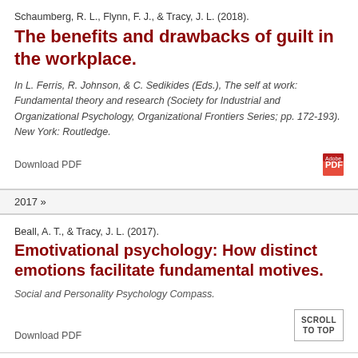Schaumberg, R. L., Flynn, F. J., & Tracy, J. L. (2018).
The benefits and drawbacks of guilt in the workplace.
In L. Ferris, R. Johnson, & C. Sedikides (Eds.), The self at work: Fundamental theory and research (Society for Industrial and Organizational Psychology, Organizational Frontiers Series; pp. 172-193). New York: Routledge.
Download PDF
2017 »
Beall, A. T., & Tracy, J. L. (2017).
Emotivational psychology: How distinct emotions facilitate fundamental motives.
Social and Personality Psychology Compass.
Download PDF